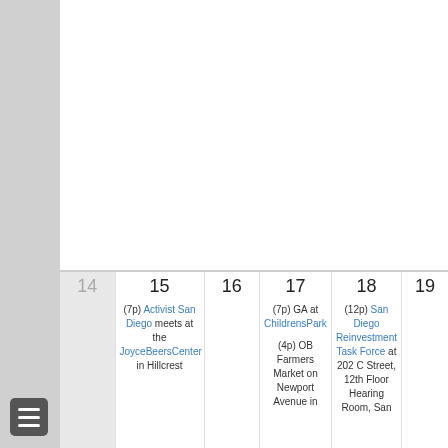14
15
16
17
18
19
(7p) Activist San Diego meets at the JoyceBeersCenter in Hillcrest
(7p) GA at ChildrensPark
(4p) OB Farmers Market on Newport Avenue in
(12p) San Diego Reinvestment Task Force at 202 C Street, 12th Floor Hearing Room, San